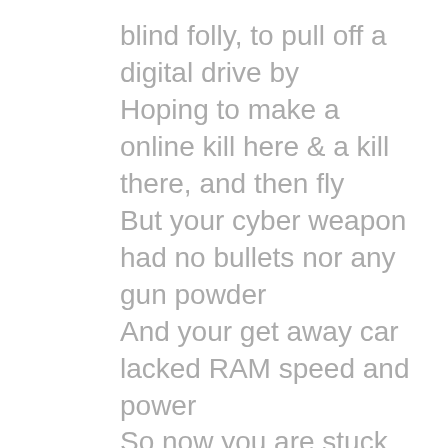blind folly, to pull off a digital drive by Hoping to make a online kill here & a kill there, and then fly But your cyber weapon had no bullets nor any gun powder And your get away car lacked RAM speed and power So now you are stuck here on the zawiyya of SIIASI About to get stomped and owned online by all to see You should've asked yoour